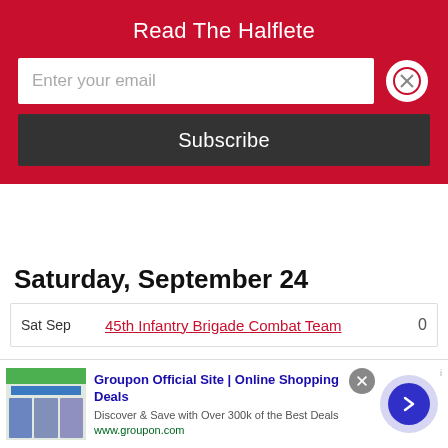Read The Halflete
Enter your email
Subscribe
Saturday, September 24
| Date | Event |  |
| --- | --- | --- |
| Sat Sep | 45th Infantry Brigade Combat Team | 0 |
[Figure (screenshot): Groupon advertisement banner with logo image and text: Groupon Official Site | Online Shopping Deals. Discover & Save with Over 300k of the Best Deals. www.groupon.com]